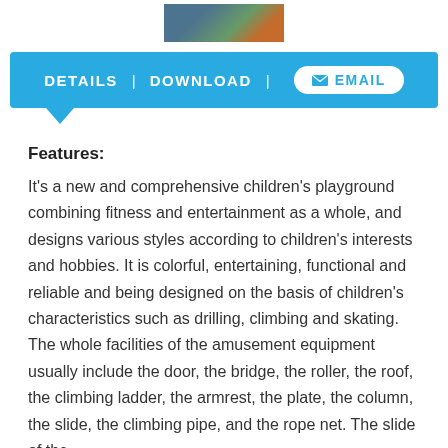[Figure (photo): Partial photo of a colorful children's playground equipment at the top of the page]
DETAILS | DOWNLOAD | EMAIL
Features:
It's a new and comprehensive children's playground combining fitness and entertainment as a whole, and designs various styles according to children's interests and hobbies. It is colorful, entertaining, functional and reliable and being designed on the basis of children's characteristics such as drilling, climbing and skating.  The whole facilities of the amusement equipment usually include the door, the bridge, the roller, the roof, the climbing ladder, the armrest, the plate, the column, the slide, the climbing pipe, and the rope net. The slide of the